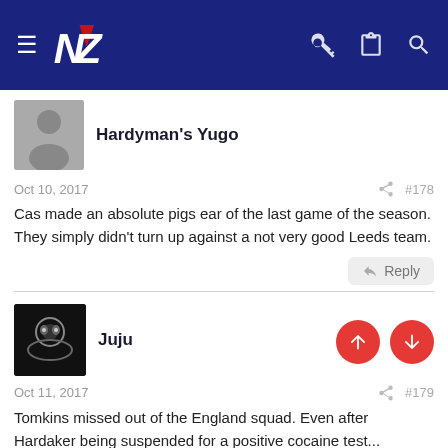NZ Rugby League Forum navigation bar
Hardyman's Yugo
Oct 10, 2017  #178
Cas made an absolute pigs ear of the last game of the season. They simply didn't turn up against a not very good Leeds team.
Reply
Juju
Oct 11, 2017  #179
Tomkins missed out of the England squad. Even after Hardaker being suspended for a positive cocaine test...